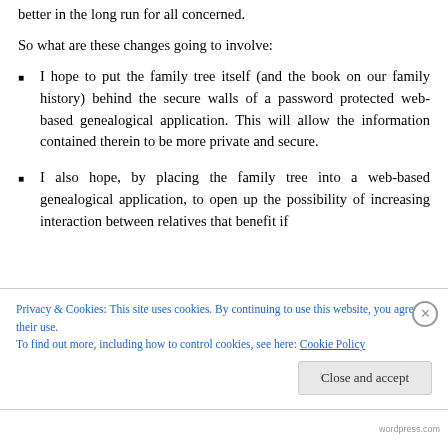better in the long run for all concerned.
So what are these changes going to involve:
I hope to put the family tree itself (and the book on our family history) behind the secure walls of a password protected web-based genealogical application. This will allow the information contained therein to be more private and secure.
I also hope, by placing the family tree into a web-based genealogical application, to open up the possibility of increasing interaction between relatives that benefit...
Privacy & Cookies: This site uses cookies. By continuing to use this website, you agree to their use. To find out more, including how to control cookies, see here: Cookie Policy
wordpress.com